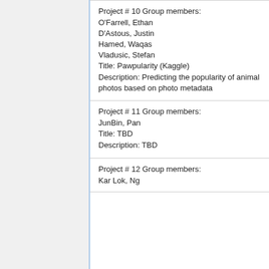Project # 10 Group members:
O'Farrell, Ethan
D'Astous, Justin
Hamed, Waqas
Vladusic, Stefan
Title: Pawpularity (Kaggle)
Description: Predicting the popularity of animal photos based on photo metadata
Project # 11 Group members:
JunBin, Pan
Title: TBD
Description: TBD
Project # 12 Group members:
Kar Lok, Ng